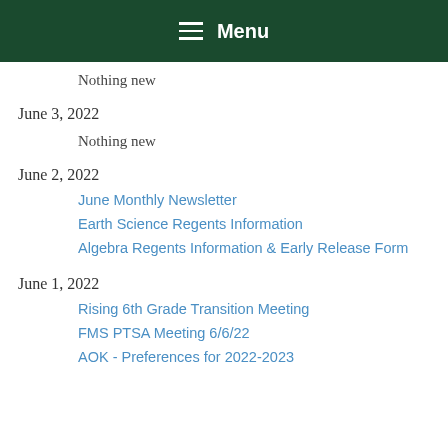Menu
Nothing new
June 3, 2022
Nothing new
June 2, 2022
June Monthly Newsletter
Earth Science Regents Information
Algebra Regents Information & Early Release Form
June 1, 2022
Rising 6th Grade Transition Meeting
FMS PTSA Meeting 6/6/22
AOK - Preferences for 2022-2023